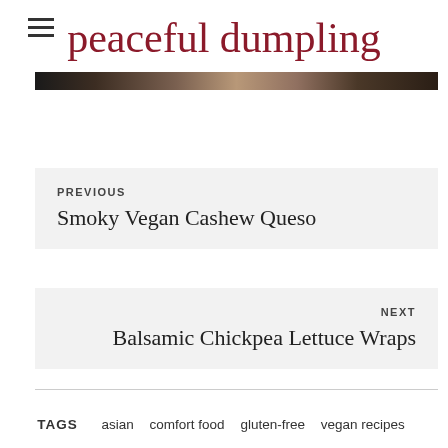peaceful dumpling
[Figure (photo): Decorative header image bar with dark food photography tones]
PREVIOUS
Smoky Vegan Cashew Queso
NEXT
Balsamic Chickpea Lettuce Wraps
TAGS  asian  comfort food  gluten-free  vegan recipes